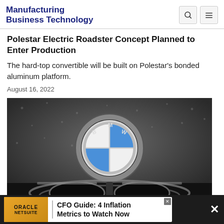Manufacturing Business Technology
Polestar Electric Roadster Concept Planned to Enter Production
The hard-top convertible will be built on Polestar’s bonded aluminum platform.
August 16, 2022
[Figure (photo): Close-up photo of a BMW logo/badge on a dark, wet car hood/grille area]
ORACLE NETSUITE | CFO Guide: 4 Inflation Metrics to Watch Now